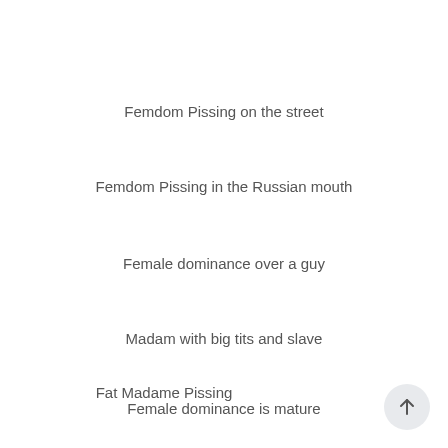Femdom Pissing on the street
Femdom Pissing in the Russian mouth
Female dominance over a guy
Madam with big tits and slave
Female dominance is mature
Fat Madame Pissing